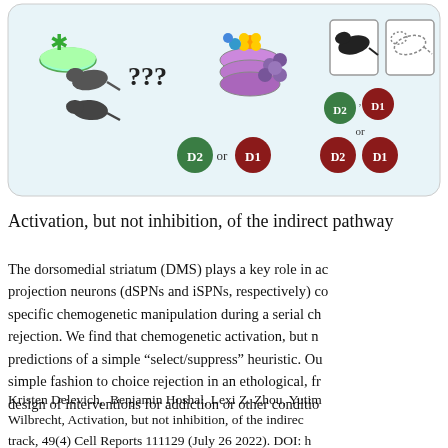[Figure (illustration): Scientific illustration showing mice with question marks and petri dishes on the left side, with D2 (green) and D1 (red) labeled circles indicating dopamine receptor pathway neurons. Right side shows two mice silhouettes in boxes with corresponding D2 and D1 labeled circles below them.]
Activation, but not inhibition, of the indirect pathway
The dorsomedial striatum (DMS) plays a key role in ac projection neurons (dSPNs and iSPNs, respectively) co specific chemogenetic manipulation during a serial ch rejection. We find that chemogenetic activation, but n predictions of a simple “select/suppress” heuristic. Ou simple fashion to choice rejection in an ethological, fr design of interventions for addiction or other conditio
Kristen Delevich, Benjamin Hoshal, Lexi Z. Zhou, Yutim Wilbrecht, Activation, but not inhibition, of the indirec track, 49(4) Cell Reports 111129 (July 26 2022). DOI: h